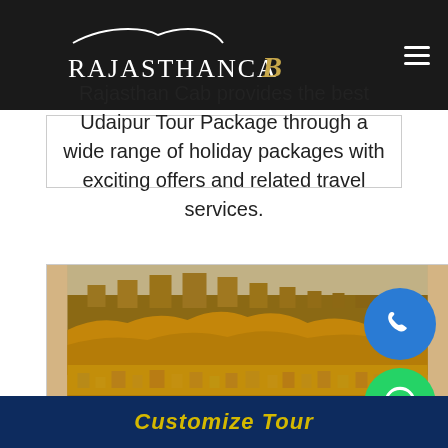RajasthanCaB
Rajasthan Cab provides the best Udaipur Tour Package through a wide range of holiday packages with exciting offers and related travel services.
[Figure (photo): Photo of Jaisalmer Fort / golden sandstone fort and city in Rajasthan, India]
Customize Tour